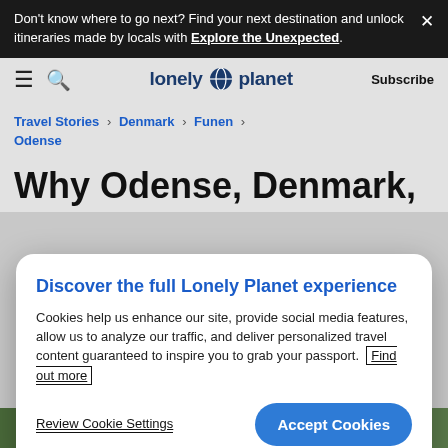Don't know where to go next? Find your next destination and unlock itineraries made by locals with Explore the Unexpected.
lonely planet  Subscribe
Travel Stories > Denmark > Funen > Odense
Why Odense, Denmark,
Discover the full Lonely Planet experience
Cookies help us enhance our site, provide social media features, allow us to analyze our traffic, and deliver personalized travel content guaranteed to inspire you to grab your passport. Find out more
Review Cookie Settings
Accept Cookies